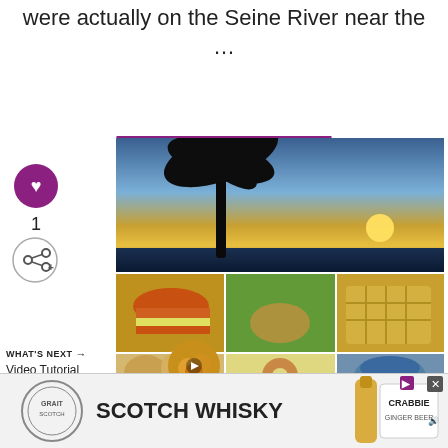were actually on the Seine River near the …
READ MORE
[Figure (photo): Heart/like button (purple circle with heart icon), count of 1, and share button]
1
[Figure (photo): Collage: top large photo of palm tree silhouette at sunset over ocean; middle row three food photos (burger/rice, outdoor dining/food bowl, waffles/fried food); bottom row three food photos (pastries, donuts, soup)]
WHAT'S NEXT → Video Tutorial on How To...
[Figure (photo): Round thumbnail image of orange/yellow fruits for the 'What's Next' video]
[Figure (photo): Advertisement banner: Scotch Whisky ad with logo, bottle image, and Crabbie branding, with close X button and ad info icon]